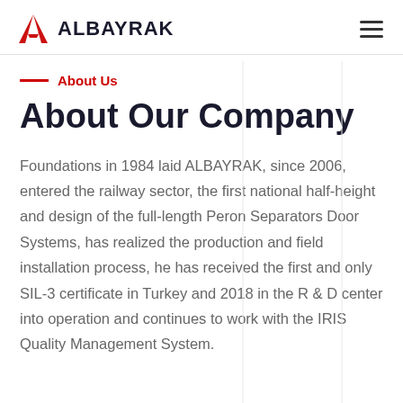ALBAYRAK
About Us
About Our Company
Foundations in 1984 laid ALBAYRAK, since 2006, entered the railway sector, the first national half-height and design of the full-length Peron Separators Door Systems, has realized the production and field installation process, he has received the first and only SIL-3 certificate in Turkey and 2018 in the R & D center into operation and continues to work with the IRIS Quality Management System.